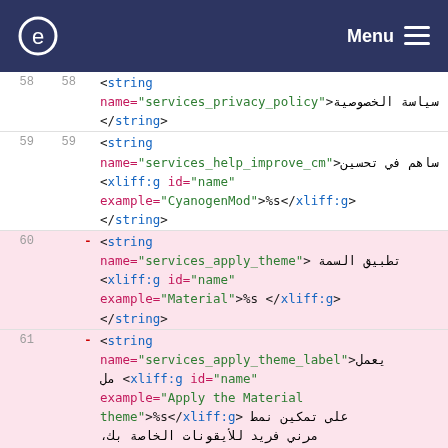e Menu
58 58   <string name="services_privacy_policy">سياسة الخصوصية </string>
59 59   <string name="services_help_improve_cm">ساهم في تحسين <xliff:g id="name" example="CyanogenMod">%s</xliff:g></string>
60 -   <string name="services_apply_theme"> تطبيق السمة <xliff:g id="name" example="Material">%s </xliff:g></string>
61 -   <string name="services_apply_theme_label">يعمل <xliff:g id="name" example="Apply the Material theme">%s</xliff:g>  على تمكين نمط مرن فريد للأيقونات الخاصة بك، الخلفية والمزيد.</string>